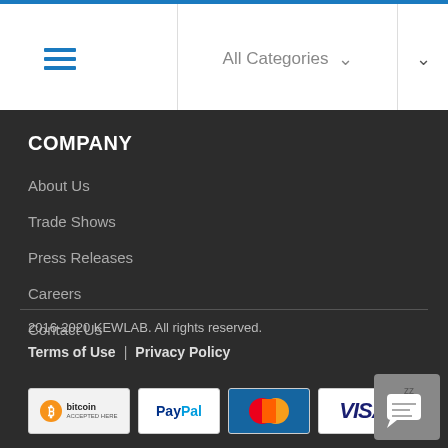≡  All Categories ∨ ∨
COMPANY
About Us
Trade Shows
Press Releases
Careers
Contact Us
2016-2020 KEWLAB. All rights reserved.
Terms of Use | Privacy Policy
[Figure (logo): Bitcoin Accepted Here logo badge]
[Figure (logo): PayPal logo badge]
[Figure (logo): MasterCard logo badge]
[Figure (logo): VISA logo badge]
[Figure (other): Chat widget button with sleep/zzz icon]